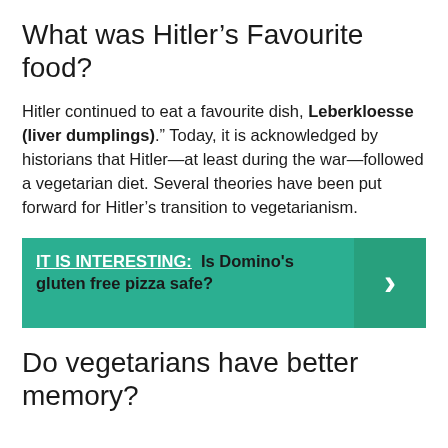What was Hitler’s Favourite food?
Hitler continued to eat a favourite dish, Leberkloesse (liver dumplings).” Today, it is acknowledged by historians that Hitler—at least during the war—followed a vegetarian diet. Several theories have been put forward for Hitler’s transition to vegetarianism.
IT IS INTERESTING:  Is Domino's gluten free pizza safe?
Do vegetarians have better memory?